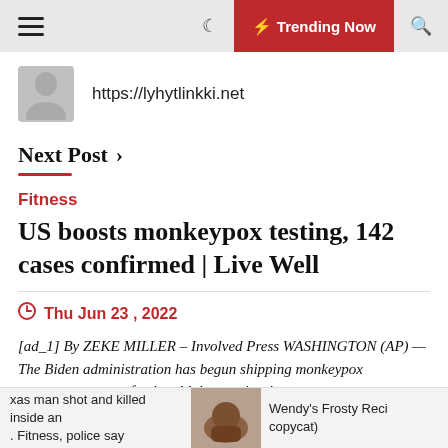Trending Now
https://lyhytlinkki.net
Next Post >
Fitness
US boosts monkeypox testing, 142 cases confirmed | Live Well
Thu Jun 23 , 2022
[ad_1] By ZEKE MILLER – Involved Press WASHINGTON (AP) — The Biden administration has begun shipping monkeypox assessments to professional laboratories, in a
xas man shot and killed inside an . Fitness, police say
Wendy's Frosty Reci copycat)